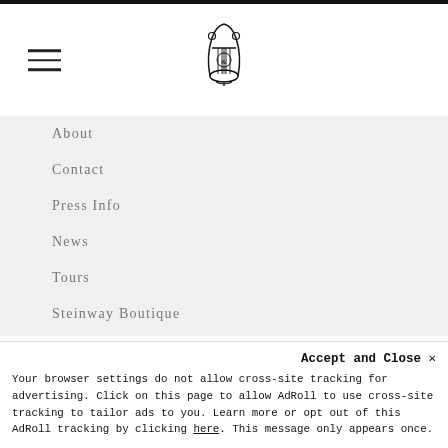[Steinway & Sons logo and hamburger menu]
About
Contact
Press Info
News
Tours
Steinway Boutique
Social Responsibility
Accept and Close ×
Your browser settings do not allow cross-site tracking for advertising. Click on this page to allow AdRoll to use cross-site tracking to tailor ads to you. Learn more or opt out of this AdRoll tracking by clicking here. This message only appears once.